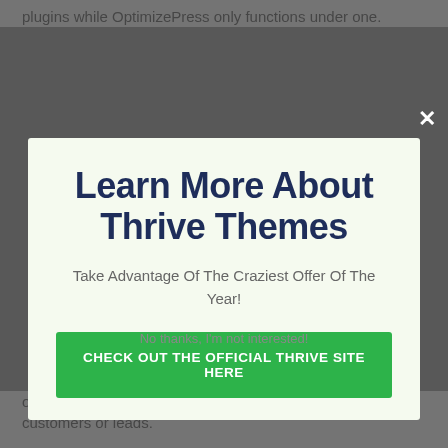plugins while OptimizePress only functions under one.
[Figure (screenshot): Modal popup overlay with title 'Learn More About Thrive Themes', subtitle 'Take Advantage Of The Craziest Offer Of The Year!', a green CTA button 'CHECK OUT THE OFFICIAL THRIVE SITE HERE', and a dismiss link 'No thanks, I'm not interested!']
online marketers who attend, turning visitors right into customers or leads.